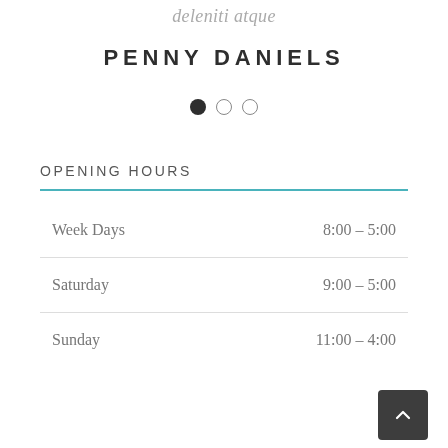deleniti atque
PENNY DANIELS
[Figure (other): Pagination dots: one filled circle and two empty circles indicating current slide position]
OPENING HOURS
| Day | Hours |
| --- | --- |
| Week Days | 8:00 – 5:00 |
| Saturday | 9:00 – 5:00 |
| Sunday | 11:00 – 4:00 |